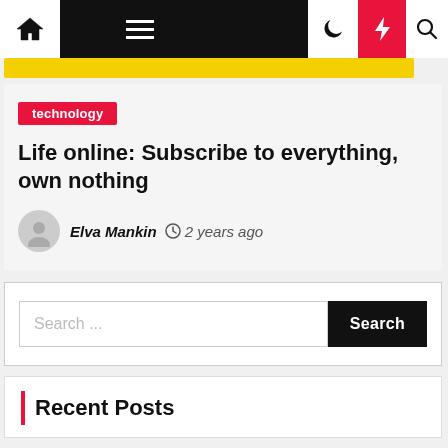Navigation bar with home, menu, moon, bolt, and search icons
technology
Life online: Subscribe to everything, own nothing
Elva Mankin  2 years ago
Search ...
Recent Posts